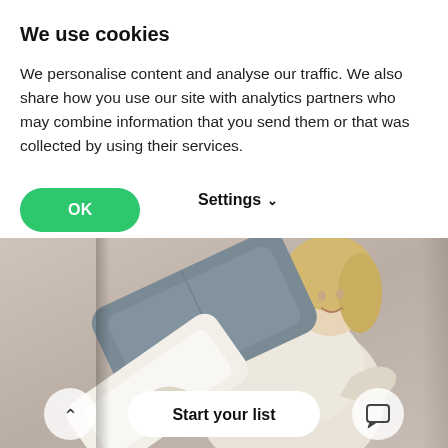We use cookies
We personalise content and analyse our traffic. We also share how you use our site with analytics partners who may combine information that you send them or that was collected by using their services.
OK
Settings
[Figure (photo): Woman in a cream fluffy sweater hugging multiple pillows including a grey pillow and white pillow, smiling, against a neutral beige background. A 'Start your list' button appears at the bottom along with navigation arrows.]